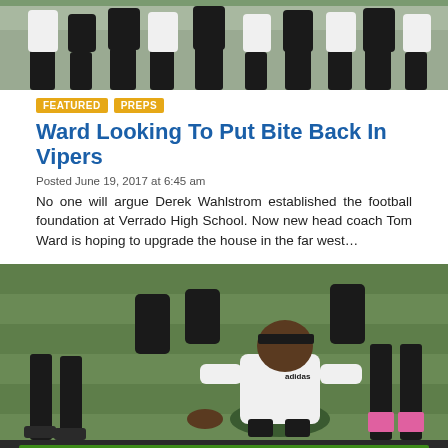[Figure (photo): Football players sitting on the sideline, viewed from below the knees, wearing black shorts.]
FEATURED   PREPS
Ward Looking To Put Bite Back In Vipers
Posted June 19, 2017 at 6:45 am
No one will argue Derek Wahlstrom established the football foundation at Verrado High School. Now new head coach Tom Ward is hoping to upgrade the house in the far west…
[Figure (photo): Football player in white jersey and headband crouching in a three-point stance on a green field, with other players in background.]
[Figure (other): DraftKings Sportsbook advertisement: Sign up to get $100 in Free Bets. Sign Up button.]